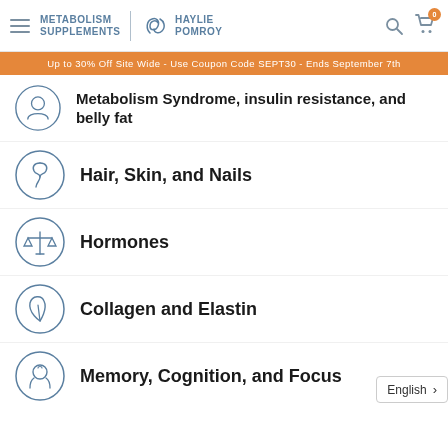Metabolism Supplements | Haylie Pomroy
Up to 30% Off Site Wide - Use Coupon Code SEPT30 - Ends September 7th
Metabolism Syndrome, insulin resistance, and belly fat
Hair, Skin, and Nails
Hormones
Collagen and Elastin
Memory, Cognition, and Focus